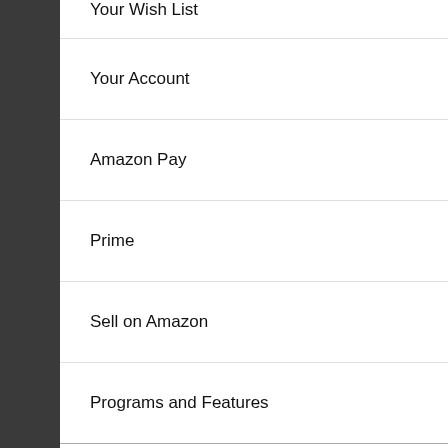Your Wish List
Your Account
Amazon Pay
Prime
Sell on Amazon
Programs and Features
Language A/क
Your Notifications
Settings
Customer Service
[Figure (screenshot): Amazon app navigation menu showing options including Your Wish List, Your Account, Amazon Pay, Prime, Sell on Amazon, Programs and Features, Language A/क, Your Notifications, Settings (highlighted with pink border, showing Indian flag), and Customer Service. Right side shows partial Amazon interface with ICICI Bank VISA card, Pay Bills section, and delivery illustration.]